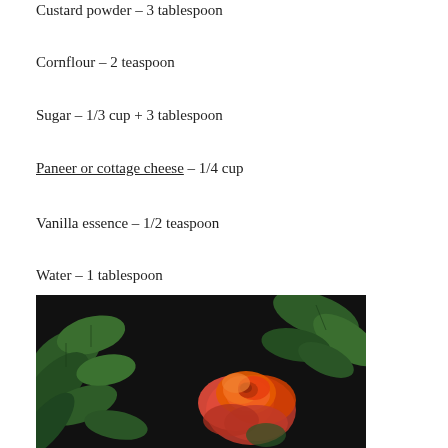Custard powder – 3 tablespoon
Cornflour – 2 teaspoon
Sugar – 1/3 cup + 3 tablespoon
Paneer or cottage cheese – 1/4 cup
Vanilla essence – 1/2 teaspoon
Water – 1 tablespoon
[Figure (photo): A dark background photo showing green leaves on the left and right, with a bright red/orange rose flower in the center-right area of the frame.]